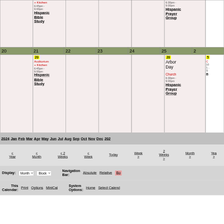| 20 | 21 | 22 | 23 | 24 | 25 | 26 |
| --- | --- | --- | --- | --- | --- | --- |
|  | 20 (yellow) Auditorium + Kitchen (red) 6:45pm-9:00pm Hispanic Bible Study |  |  |  | 20 (yellow) Arbor Day Church (red) 6:30pm-9:00pm Hispanic Prayer Group | 5 (yellow) C... 10... 1... S... B... |
| 6:30pm-9:00pm Hispanic Bible Study |  |  |  |  |  |  |
2024 Jan Feb Mar Apr May Jun Jul Aug Sep Oct Nov Dec 2025
< Year  < Month  < 2 Weeks  < Week  Today  Week >  2 Weeks >  Month >  Year >
Display: Month Block
Navigation Bar: Absolute Relative Bo...
This Calendar: Print Options MiniCal
System Options: Home Select Calendar